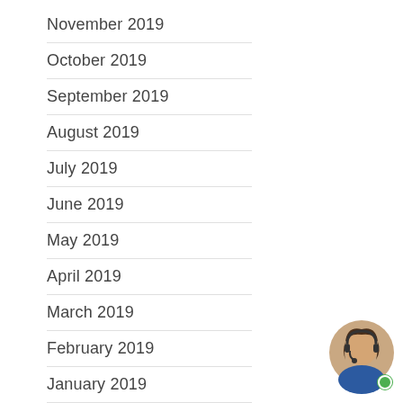November 2019
October 2019
September 2019
August 2019
July 2019
June 2019
May 2019
April 2019
March 2019
February 2019
January 2019
December 2018
November 2018
October 2018
September 2018
[Figure (other): Chat widget with close button (X), speech bubble saying 'Need some assistance?', and a customer support agent avatar with a green online indicator dot.]